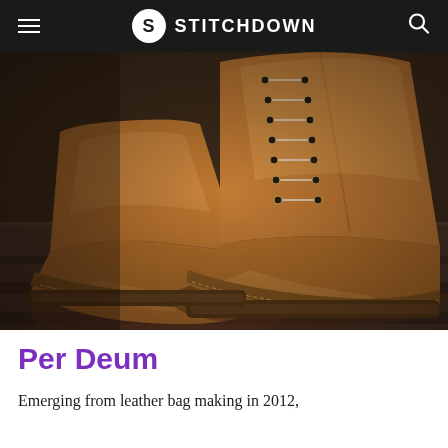≡ STITCHDOWN 🔍
[Figure (photo): Close-up photograph of a pair of tan/cognac leather lace-up boots resting on wooden steps. The boots feature multiple eyelets with laces, a storm welt, and a leather/rubber sole. The leather has a rich warm brown tone.]
Per Deum
Emerging from leather bag making in 2012,